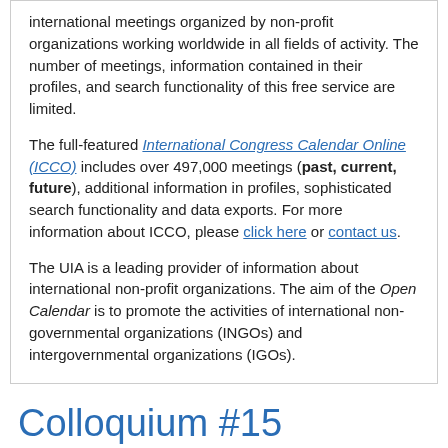international meetings organized by non-profit organizations working worldwide in all fields of activity. The number of meetings, information contained in their profiles, and search functionality of this free service are limited.
The full-featured International Congress Calendar Online (ICCO) includes over 497,000 meetings (past, current, future), additional information in profiles, sophisticated search functionality and data exports. For more information about ICCO, please click here or contact us.
The UIA is a leading provider of information about international non-profit organizations. The aim of the Open Calendar is to promote the activities of international non-governmental organizations (INGOs) and intergovernmental organizations (IGOs).
Colloquium #15
Date &
Location(s):
12. Jun